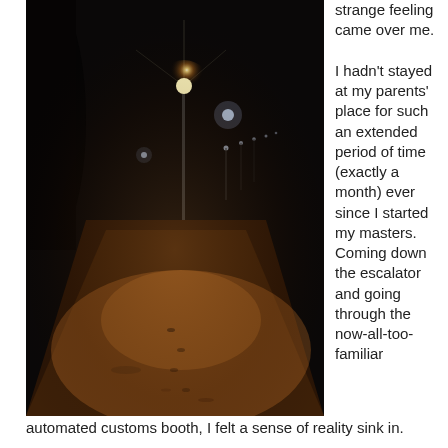[Figure (photo): Night photograph of a snow-covered path or park walkway illuminated by street lamps, with a bright lamp in the foreground and more lights receding into the distance. The scene is dark with warm orange/amber light pooling on the snow.]
strange feeling came over me.

I hadn't stayed at my parents' place for such an extended period of time (exactly a month) ever since I started my masters. Coming down the escalator and going through the now-all-too-familiar automated customs booth, I felt a sense of reality sink in.